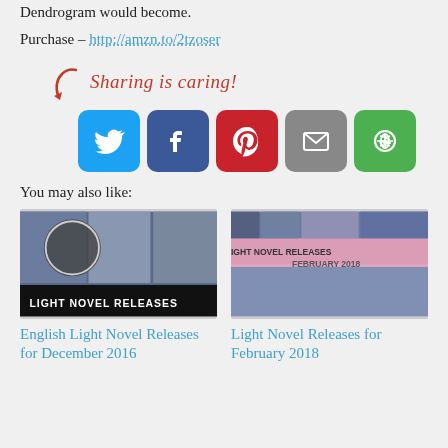Dendrogram would become.
Purchase – http://amzn.to/2tzoser
[Figure (infographic): Sharing is caring! text with arrow and five social media share buttons: Twitter (blue bird), Facebook (blue f), Pinterest (red p), Email (grey envelope), More sharing (green circular arrows)]
You may also like:
[Figure (illustration): Thumbnail image for 'English Light Novel Releases for December 2016' showing anime manga collage]
English Light Novel Releases for December 2016
[Figure (illustration): Thumbnail image for 'Light Novel Releases for February 2018' showing anime collage with pink banner]
Light Novel Releases for February 2018